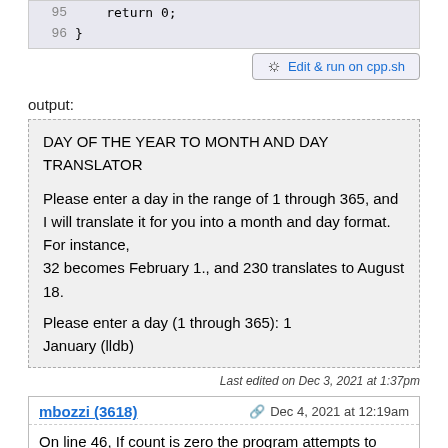[Figure (screenshot): Code snippet showing lines 95-96 with 'return 0;' and closing brace, followed by an 'Edit & run on cpp.sh' button]
output:
DAY OF THE YEAR TO MONTH AND DAY TRANSLATOR

Please enter a day in the range of 1 through 365, and I will translate it for you into a month and day format. For instance,
32 becomes February 1., and 230 translates to August 18.

Please enter a day (1 through 365): 1
January (lldb)
Last edited on Dec 3, 2021 at 1:37pm
mbozzi (3618)
Dec 4, 2021 at 12:19am
On line 46, If count is zero the program attempts to access